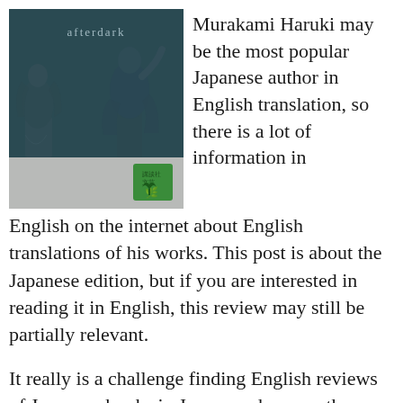[Figure (photo): Book cover of 'afterdark' by Murakami Haruki, showing two classical stone statues against a dark teal background, with a green publisher's logo/stamp in the lower right corner]
Murakami Haruki may be the most popular Japanese author in English translation, so there is a lot of information in English on the internet about English translations of his works. This post is about the Japanese edition, but if you are interested in reading it in English, this review may still be partially relevant.
It really is a challenge finding English reviews of Japanese books in Japanese, because there